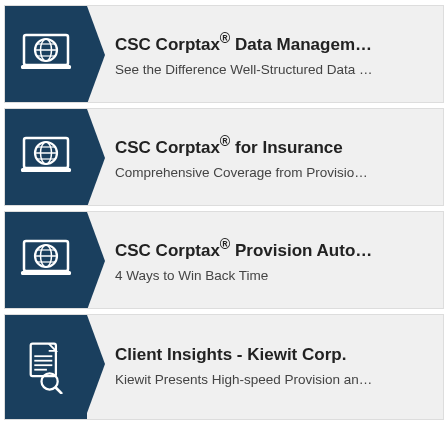[Figure (illustration): Card with dark blue icon of laptop with globe, arrow pointer shape, title: CSC Corptax® Data Managem…, subtitle: See the Difference Well-Structured Data …]
[Figure (illustration): Card with dark blue icon of laptop with globe, arrow pointer shape, title: CSC Corptax® for Insurance, subtitle: Comprehensive Coverage from Provisio…]
[Figure (illustration): Card with dark blue icon of laptop with globe, arrow pointer shape, title: CSC Corptax® Provision Auto…, subtitle: 4 Ways to Win Back Time]
[Figure (illustration): Card with dark blue icon of document with magnifying glass, arrow pointer shape, title: Client Insights - Kiewit Corp., subtitle: Kiewit Presents High-speed Provision an…]